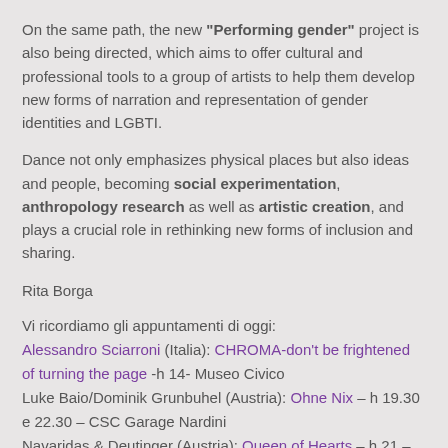On the same path, the new "Performing gender" project is also being directed, which aims to offer cultural and professional tools to a group of artists to help them develop new forms of narration and representation of gender identities and LGBTI.
Dance not only emphasizes physical places but also ideas and people, becoming social experimentation, anthropology research as well as artistic creation, and plays a crucial role in rethinking new forms of inclusion and sharing.
Rita Borga
Vi ricordiamo gli appuntamenti di oggi: Alessandro Sciarroni (Italia): CHROMA-don't be frightened of turning the page -h 14- Museo Civico
Luke Baio/Dominik Grunbuhel (Austria): Ohne Nix – h 19.30 e 22.30 – CSC Garage Nardini
Navaridas & Deutinger (Austria): Queen of Hearts – h 21 – Teatro Remondini